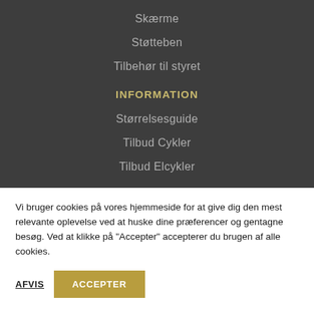Skærme
Støtteben
Tilbehør til styret
INFORMATION
Størrelsesguide
Tilbud Cykler
Tilbud Elcykler
Vi bruger cookies på vores hjemmeside for at give dig den mest relevante oplevelse ved at huske dine præferencer og gentagne besøg. Ved at klikke på "Accepter" accepterer du brugen af alle cookies.
AFVIS
ACCEPTER